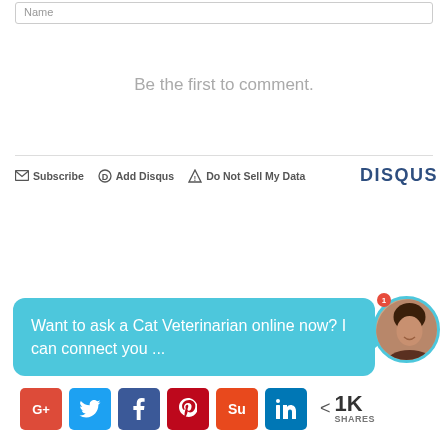Name
Be the first to comment.
Subscribe   Add Disqus   Do Not Sell My Data   DISQUS
Want to ask a Cat Veterinarian online now? I can connect you ...
[Figure (illustration): Social share bar with Google+, Twitter, Facebook, Pinterest, StumbleUpon, LinkedIn buttons and 1K SHARES count]